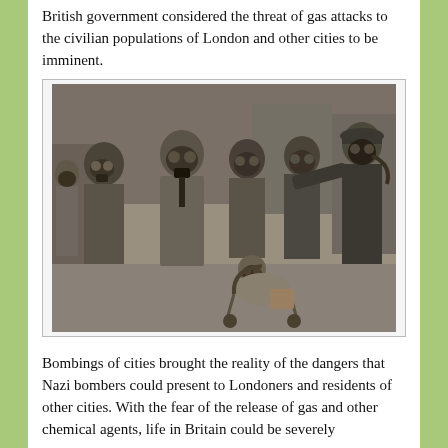British government considered the threat of gas attacks to the civilian populations of London and other cities to be imminent.
[Figure (photo): Black and white historical photograph showing a group of people wearing gas masks on a city street. Civilians in suits and coats stand alongside a uniformed officer. A child in a pram also wears a gas mask. The scene depicts WWII-era Britain during gas mask drills or distribution.]
Bombings of cities brought the reality of the dangers that Nazi bombers could present to Londoners and residents of other cities. With the fear of the release of gas and other chemical agents, life in Britain could be severely